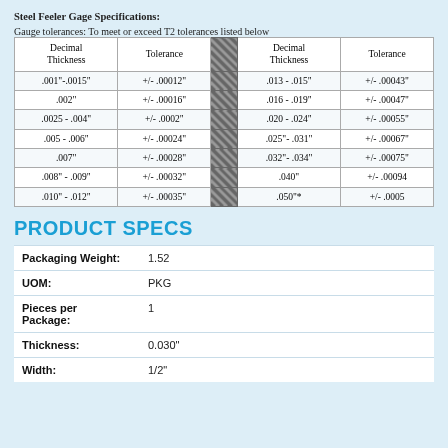Steel Feeler Gage Specifications:
Gauge tolerances: To meet or exceed T2 tolerances listed below
| Decimal Thickness | Tolerance |  | Decimal Thickness | Tolerance |
| --- | --- | --- | --- | --- |
| .001"-.0015" | +/- .00012" |  | .013 - .015" | +/- .00043" |
| .002" | +/- .00016" |  | .016 - .019" | +/- .00047" |
| .0025 - .004" | +/- .0002" |  | .020 - .024" | +/- .00055" |
| .005 - .006" | +/- .00024" |  | .025"- .031" | +/- .00067" |
| .007" | +/- .00028" |  | .032"- .034" | +/- .00075" |
| .008" - .009" | +/- .00032" |  | .040" | +/- .00094 |
| .010" - .012" | +/- .00035" |  | .050"* | +/- .0005 |
PRODUCT SPECS
|  |  |
| --- | --- |
| Packaging Weight: | 1.52 |
| UOM: | PKG |
| Pieces per Package: | 1 |
| Thickness: | 0.030" |
| Width: | 1/2" |